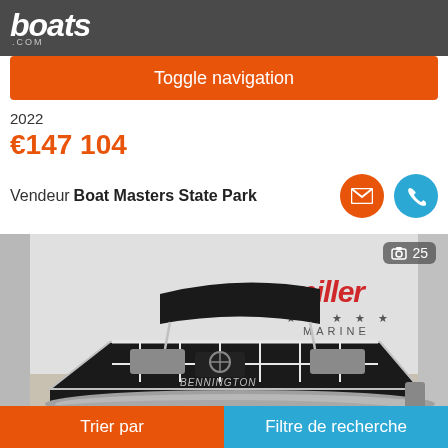boats.com
Toggle navigation
2022
€147 104
Vendeur Boat Masters State Park
[Figure (photo): Black and silver pontoon boat displayed indoors at Miller Marine dealership. Photo counter shows 25 images.]
Trier par
Filtre de recherche